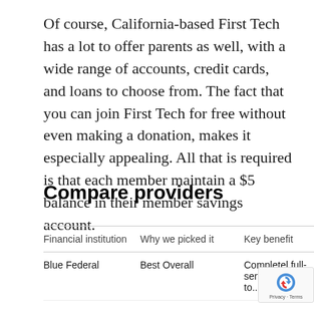Of course, California-based First Tech has a lot to offer parents as well, with a wide range of accounts, credit cards, and loans to choose from. The fact that you can join First Tech for free without even making a donation, makes it especially appealing. All that is required is that each member maintain a $5 balance in their member savings account.
Compare providers
| Financial institution | Why we picked it | Key benefit |
| --- | --- | --- |
| Blue Federal | Best Overall | Completely full-service with need to... |